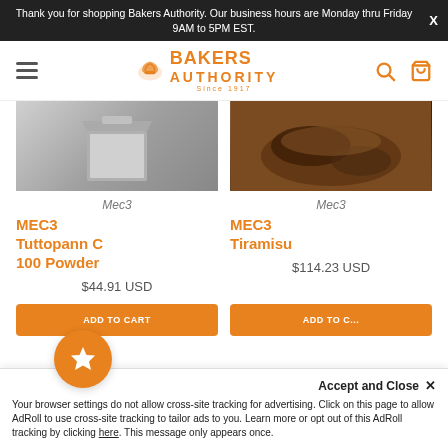Thank you for shopping Bakers Authority. Our business hours are Monday thru Friday 9AM to 5PM EST.
[Figure (logo): Bakers Authority logo with chef hat icon and orange text]
[Figure (photo): Product image: metallic pan/mold for MEC3 Tuttopann C 100 Powder]
Mec3
MEC3 Tuttopann C 100 Powder
$44.91 USD
[Figure (photo): Product image: baked dessert for MEC3 Tiramisu]
Mec3
MEC3 Tiramisu
$114.23 USD
Your browser settings do not allow cross-site tracking for advertising. Click on this page to allow AdRoll to use cross-site tracking to tailor ads to you. Learn more or opt out of this AdRoll tracking by clicking here. This message only appears once.